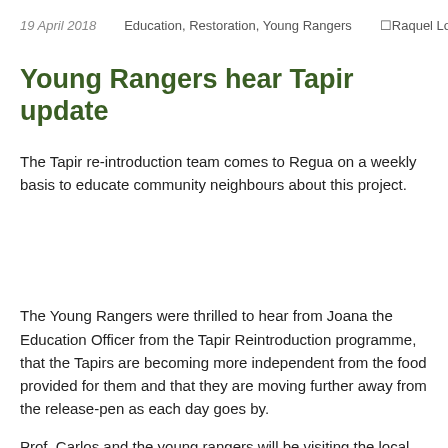19 April 2018   Education, Restoration, Young Rangers   ☐Raquel Lock
Young Rangers hear Tapir update
The Tapir re-introduction team comes to Regua on a weekly basis to educate community neighbours about this project.
The Young Rangers were thrilled to hear from Joana the Education Officer from the Tapir Reintroduction programme, that the Tapirs are becoming more independent from the food provided for them and that they are moving further away from the release-pen as each day goes by.
Prof. Carlos and the young rangers will be visiting the local villages of Guapiaçú, Santo Amaro, Areal, Matumbo and Estreito to inform the communities on the positive development of this pioneering project